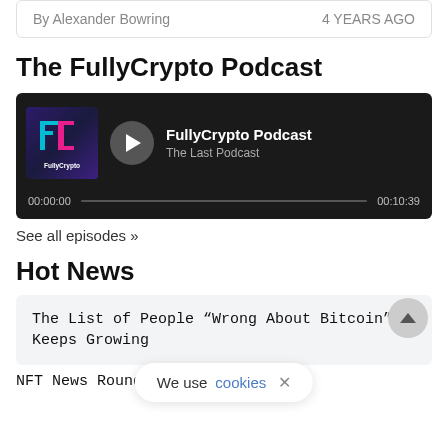By Alexander Bowring    4 YEARS AGO
The FullyCrypto Podcast
[Figure (other): Embedded podcast player widget for FullyCrypto Podcast showing 'The Last Podcast' episode. Dark background with logo, play button, track name, progress bar showing 00:00:00 to 00:10:39.]
See all episodes »
Hot News
The List of People “Wrong About Bitcoin” Keeps Growing
We use cookies ×
NFT News Roundup – 27/08/22